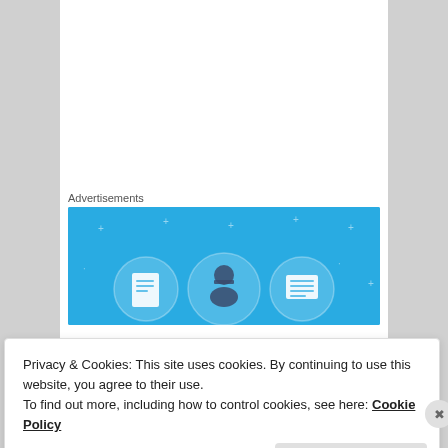Advertisements
[Figure (illustration): Blue advertisement banner with three circular icons showing document/person/list graphics]
[Figure (illustration): Magenta avatar image with diamond/grid pattern for user kswenson]
kswenson on May 13, 2010 at 8:58 pm said:
Privacy & Cookies: This site uses cookies. By continuing to use this website, you agree to their use.
To find out more, including how to control cookies, see here: Cookie Policy
Close and accept